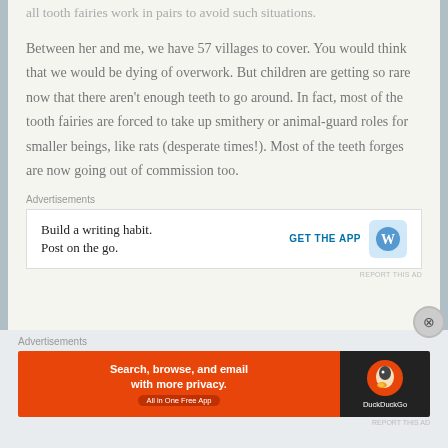all tooth fairies work in pairs to avoid such situations.
Between her and me, we have 57 villages to cover. You would think that we would be dying of overwork. But children are getting so rare now that there aren't enough teeth to go around. In fact, most of the tooth fairies are forced to take up smithery or animal-guard roles for smaller beings, like rats (desperate times!). Most of the teeth forges are now going out of commission too.
Advertisements
[Figure (screenshot): WordPress mobile app advertisement: 'Build a writing habit. Post on the go.' with GET THE APP button and WordPress logo]
REPORT THIS AD
Advertisements
[Figure (screenshot): DuckDuckGo advertisement: 'Search, browse, and email with more privacy. All in One Free App' with DuckDuckGo logo]